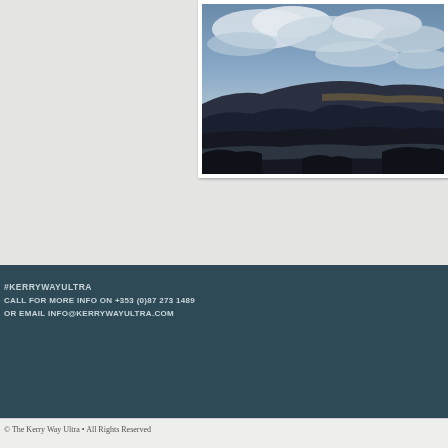[Figure (photo): Landscape photograph showing dramatic cloudy sky over dark silhouetted coastal hills and water, taken at dusk or dawn, framed with white border]
#KERRYWAYULTRA
CALL FOR MORE INFO ON +353 (0)87 273 1489
OR EMAIL INFO@KERRYWAYULTRA.COM
© The Kerry Way Ultra • All Rights Reserved